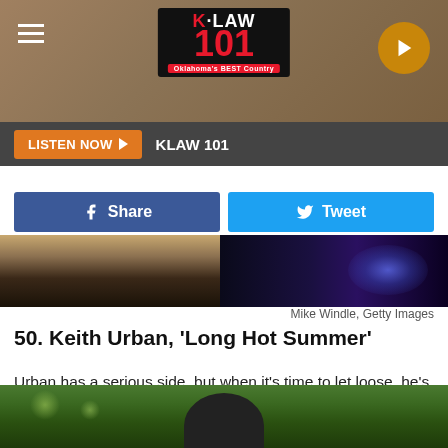[Figure (screenshot): KLAW 101 radio station header with logo, hamburger menu, and play button on textured brown background]
LISTEN NOW ▶  KLAW 101
[Figure (screenshot): Facebook Share and Twitter Tweet social share buttons]
[Figure (photo): Concert photo strip showing guitars and stage lighting with blue and purple lights]
Mike Windle, Getty Images
50. Keith Urban, 'Long Hot Summer'
Urban has a serious side, but when it's time to let loose, he's all in! Urban co-wrote "Long Hot Summer" with pop hitmaker Richard Marx, and the song's easy-breezy feel makes it one of country music's top songs of summer.
[Figure (photo): Bottom portion of photo showing person with dark hair and sunglasses against green bokeh background]